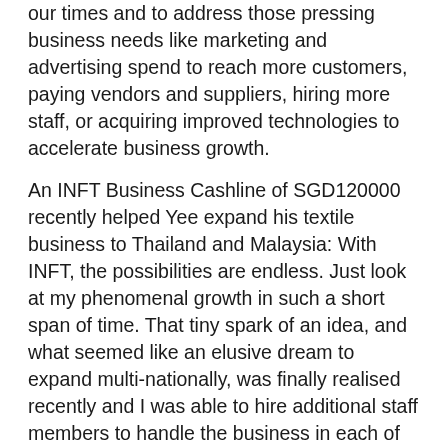our times and to address those pressing business needs like marketing and advertising spend to reach more customers, paying vendors and suppliers, hiring more staff, or acquiring improved technologies to accelerate business growth.
An INFT Business Cashline of SGD120000 recently helped Yee expand his textile business to Thailand and Malaysia: With INFT, the possibilities are endless. Just look at my phenomenal growth in such a short span of time. That tiny spark of an idea, and what seemed like an elusive dream to expand multi-nationally, was finally realised recently and I was able to hire additional staff members to handle the business in each of these markets. My business needs constantly change, so I opted for the fixed financing solution over 12 months; and the freedom it gives me to adapt as I